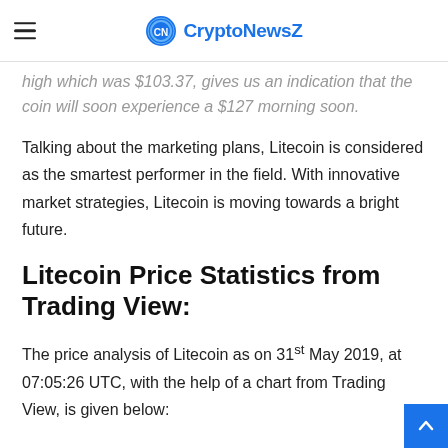CryptoNewsZ
high which was $103.37, gives us an indication that the coin will soon experience a $127 morning soon.
Talking about the marketing plans, Litecoin is considered as the smartest performer in the field. With innovative market strategies, Litecoin is moving towards a bright future.
Litecoin Price Statistics from Trading View:
The price analysis of Litecoin as on 31st May 2019, at 07:05:26 UTC, with the help of a chart from Trading View, is given below: